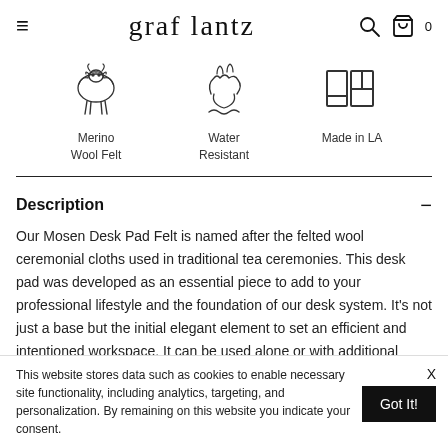graf lantz
[Figure (illustration): Three icons: Merino Wool Felt (sheep drawing), Water Resistant (leaf/water drawing), Made in LA (LA letters in block style)]
Description
Our Mosen Desk Pad Felt is named after the felted wool ceremonial cloths used in traditional tea ceremonies. This desk pad was developed as an essential piece to add to your professional lifestyle and the foundation of our desk system. It's not just a base but the initial elegant element to set an efficient and intentioned workspace. It can be used alone or with additional system pieces like our Mausu Mouse Pad and Raku Wrist Wrest each featuring a felt base for natural adhesion to
This website stores data such as cookies to enable necessary site functionality, including analytics, targeting, and personalization. By remaining on this website you indicate your consent.